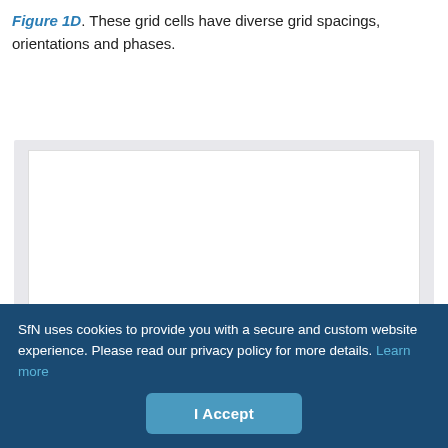Figure 1D. These grid cells have diverse grid spacings, orientations and phases.
[Figure (other): White rectangular figure area on a light grey background, content not visible (likely a scientific figure showing grid cells).]
SfN uses cookies to provide you with a secure and custom website experience. Please read our privacy policy for more details. Learn more